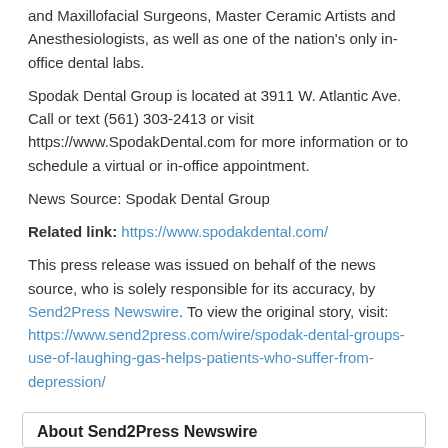and Maxillofacial Surgeons, Master Ceramic Artists and Anesthesiologists, as well as one of the nation's only in-office dental labs.
Spodak Dental Group is located at 3911 W. Atlantic Ave. Call or text (561) 303-2413 or visit https://www.SpodakDental.com for more information or to schedule a virtual or in-office appointment.
News Source: Spodak Dental Group
Related link: https://www.spodakdental.com/
This press release was issued on behalf of the news source, who is solely responsible for its accuracy, by Send2Press Newswire. To view the original story, visit: https://www.send2press.com/wire/spodak-dental-groups-use-of-laughing-gas-helps-patients-who-suffer-from-depression/
About Send2Press Newswire